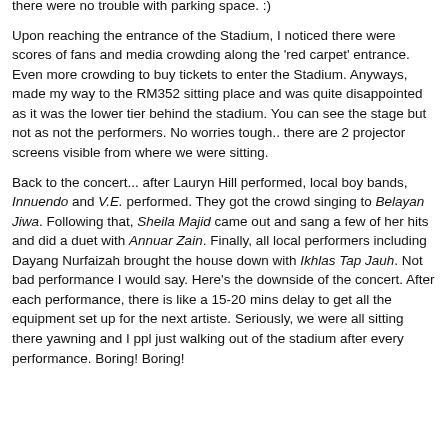there were no trouble with parking space. :)
Upon reaching the entrance of the Stadium, I noticed there were scores of fans and media crowding along the 'red carpet' entrance. Even more crowding to buy tickets to enter the Stadium. Anyways, made my way to the RM352 sitting place and was quite disappointed as it was the lower tier behind the stadium. You can see the stage but not as not the performers. No worries tough.. there are 2 projector screens visible from where we were sitting.
Back to the concert... after Lauryn Hill performed, local boy bands, Innuendo and V.E. performed. They got the crowd singing to Belayan Jiwa. Following that, Sheila Majid came out and sang a few of her hits and did a duet with Annuar Zain. Finally, all local performers including Dayang Nurfaizah brought the house down with Ikhlas Tap Jauh. Not bad performance I would say. Here's the downside of the concert. After each performance, there is like a 15-20 mins delay to get all the equipment set up for the next artiste. Seriously, we were all sitting there yawning and I ppl just walking out of the stadium after every performance. Boring! Boring!